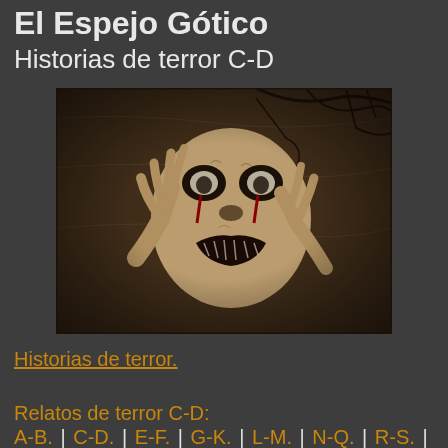El Espejo Gótico
Historias de terror C-D
[Figure (photo): Dark horror image of a decayed zombie-like face with clawed hands reaching forward, blood-streaked eyes, set against a cracked stone and branch background]
Historias de terror.
Relatos de terror C-D:
A-B. | C-D. | E-F. | G-K. | L-M. | N-Q. | R-S. | T-